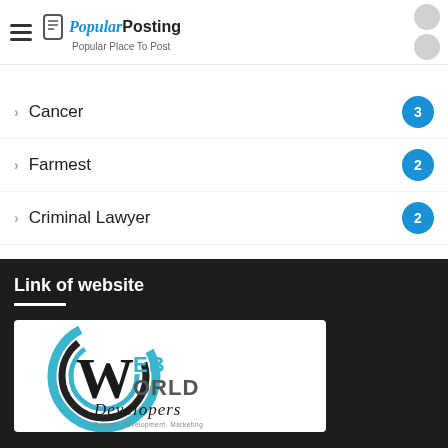Popular Posting — Popular Place To Post
Cancer — 3
Farmest — 2
Criminal Lawyer — 2
Link of website
[Figure (logo): Web World Developers logo — circular swoosh design with large W, text WEB WORLD Developers, tagline: Design, Development, Marketing]